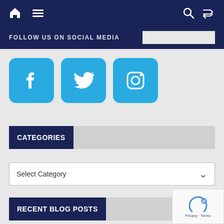Navigation bar with home, menu, search, and shuffle icons
FOLLOW US ON SOCIAL MEDIA
[Figure (logo): Facebook, Twitter, and Instagram social media icons in cyan rounded square buttons]
CATEGORIES
Select Category
RECENT BLOG POSTS
Reducing Social Isolation For S Grant Program — Round 3